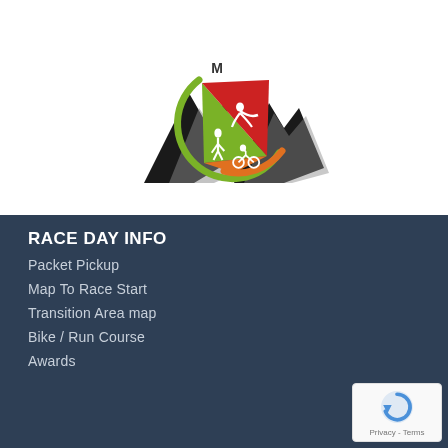[Figure (logo): Triathlon/multisport race logo featuring mountain silhouettes in black/gray behind a circular emblem with three colored sections (green, red, orange) containing white silhouettes of a swimmer, runner, and cyclist respectively. The letter M appears above the emblem.]
RACE DAY INFO
Packet Pickup
Map To Race Start
Transition Area map
Bike / Run Course
Awards
[Figure (logo): Google reCAPTCHA badge with blue circular arrow icon and Privacy - Terms text]